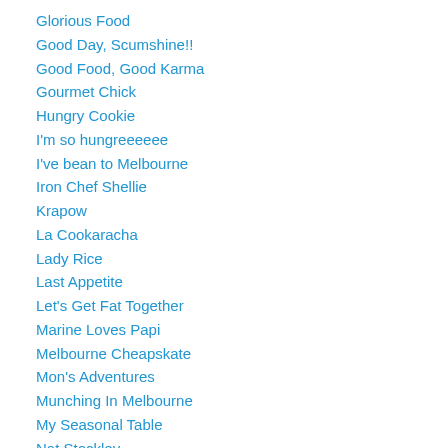Glorious Food
Good Day, Scumshine!!
Good Food, Good Karma
Gourmet Chick
Hungry Cookie
I'm so hungreeeeee
I've bean to Melbourne
Iron Chef Shellie
Krapow
La Cookaracha
Lady Rice
Last Appetite
Let's Get Fat Together
Marine Loves Papi
Melbourne Cheapskate
Mon's Adventures
Munching In Melbourne
My Seasonal Table
Nat Stockley
Not My Bread And Butter